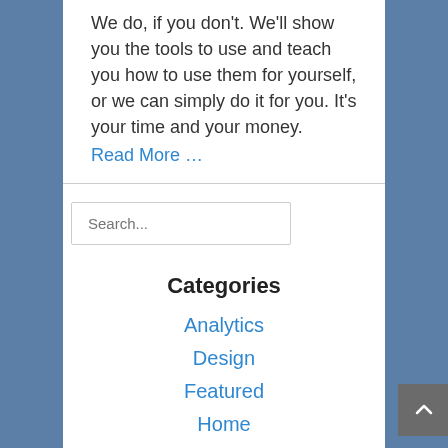We do, if you don't. We'll show you the tools to use and teach you how to use them for yourself, or we can simply do it for you. It's your time and your money.
Read More …
Search...
Categories
Analytics
Design
Featured
Home